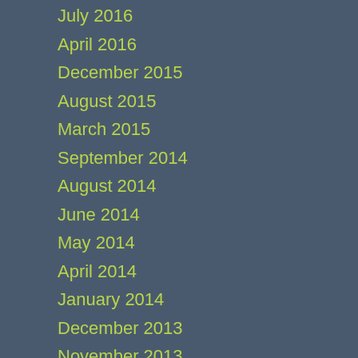July 2016
April 2016
December 2015
August 2015
March 2015
September 2014
August 2014
June 2014
May 2014
April 2014
January 2014
December 2013
November 2013
October 2013
September 2013
August 2013
July 2013
June 2013